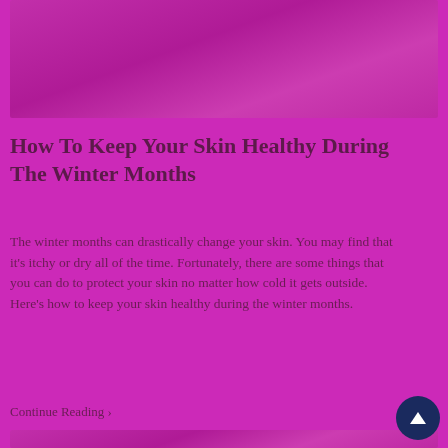[Figure (photo): Photo of person related to skin care, magenta/pink tinted overlay at top of page]
How To Keep Your Skin Healthy During The Winter Months
The winter months can drastically change your skin. You may find that it’s itchy or dry all of the time. Fortunately, there are some things that you can do to protect your skin no matter how cold it gets outside. Here’s how to keep your skin healthy during the winter months.
Continue Reading ›
[Figure (photo): Photo of person related to skin care, magenta/pink tinted overlay at bottom of page]